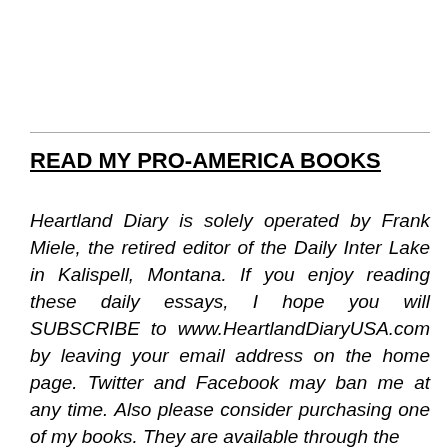READ MY PRO-AMERICA BOOKS
Heartland Diary is solely operated by Frank Miele, the retired editor of the Daily Inter Lake in Kalispell, Montana. If you enjoy reading these daily essays, I hope you will SUBSCRIBE to www.HeartlandDiaryUSA.com by leaving your email address on the home page. Twitter and Facebook may ban me at any time. Also please consider purchasing one of my books. They are available through the